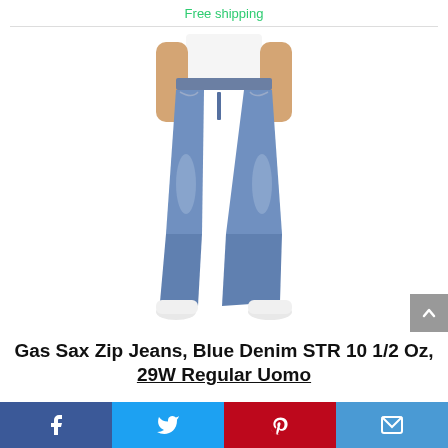Free shipping
[Figure (photo): Man wearing slim-fit blue denim jeans (Gas Sax Zip) with a white t-shirt and white sneakers, photographed from waist down against a white background.]
Gas Sax Zip Jeans, Blue Denim STR 10 1/2 Oz, 29W Regular Uomo
[Figure (infographic): Social media share bar with four buttons: Facebook (blue), Twitter (light blue), Pinterest (red), Email (blue)]